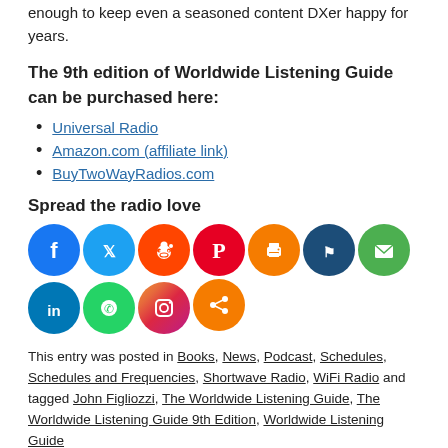enough to keep even a seasoned content DXer happy for years.
The 9th edition of Worldwide Listening Guide can be purchased here:
Universal Radio
Amazon.com (affiliate link)
BuyTwoWayRadios.com
Spread the radio love
[Figure (infographic): Row of social media sharing icons: Facebook, Twitter, Reddit, Pinterest, Print, another icon, Email, LinkedIn, WhatsApp, Instagram, and a share icon]
This entry was posted in Books, News, Podcast, Schedules, Schedules and Frequencies, Shortwave Radio, WiFi Radio and tagged John Figliozzi, The Worldwide Listening Guide, The Worldwide Listening Guide 9th Edition, Worldwide Listening Guide